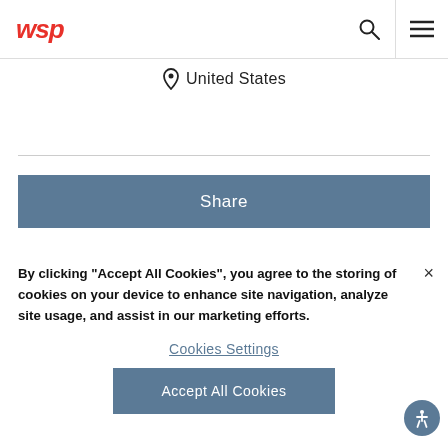WSP — United States
Share
By clicking “Accept All Cookies”, you agree to the storing of cookies on your device to enhance site navigation, analyze site usage, and assist in our marketing efforts.
Cookies Settings
Accept All Cookies